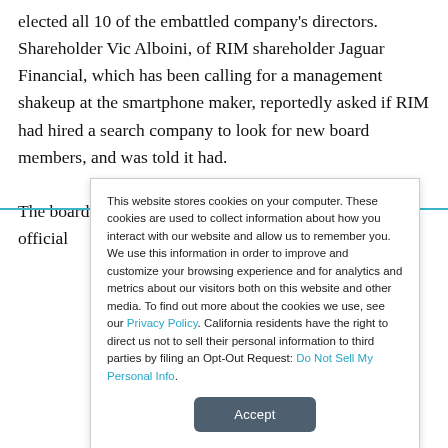elected all 10 of the embattled company's directors. Shareholder Vic Alboini, of RIM shareholder Jaguar Financial, which has been calling for a management shakeup at the smartphone maker, reportedly asked if RIM had hired a search company to look for new board members, and was told it had.

The board continued to retain Ernst & Young as RIM's official
This website stores cookies on your computer. These cookies are used to collect information about how you interact with our website and allow us to remember you. We use this information in order to improve and customize your browsing experience and for analytics and metrics about our visitors both on this website and other media. To find out more about the cookies we use, see our Privacy Policy. California residents have the right to direct us not to sell their personal information to third parties by filing an Opt-Out Request: Do Not Sell My Personal Info.